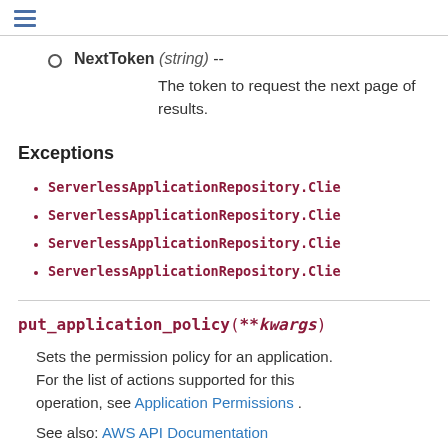NextToken (string) -- The token to request the next page of results.
Exceptions
ServerlessApplicationRepository.Clie
ServerlessApplicationRepository.Clie
ServerlessApplicationRepository.Clie
ServerlessApplicationRepository.Clie
put_application_policy(**kwargs)
Sets the permission policy for an application. For the list of actions supported for this operation, see Application Permissions .
See also: AWS API Documentation